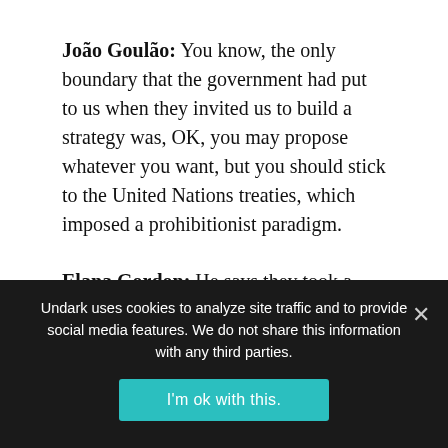João Goulão: You know, the only boundary that the government had put to us when they invited us to build a strategy was, OK, you may propose whatever you want, but you should stick to the United Nations treaties, which imposed a prohibitionist paradigm.
Elana Gordon: He says they took a pragmatic approach, focusing on addiction evidence, not ideology.
João Goulão: Everything was built based on the idea that we
Undark uses cookies to analyze site traffic and to provide social media features. We do not share this information with any third parties.